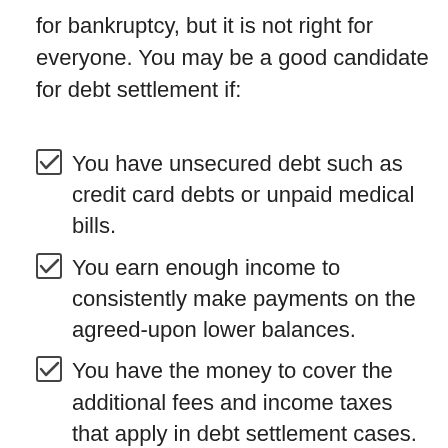for bankruptcy, but it is not right for everyone. You may be a good candidate for debt settlement if:
You have unsecured debt such as credit card debts or unpaid medical bills.
You earn enough income to consistently make payments on the agreed-upon lower balances.
You have the money to cover the additional fees and income taxes that apply in debt settlement cases.
You have suffered financial hardship